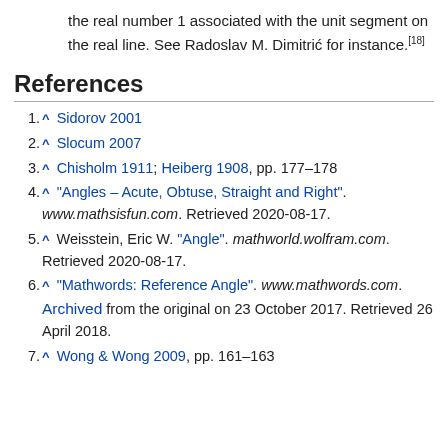the real number 1 associated with the unit segment on the real line. See Radoslav M. Dimitrić for instance.[18]
References
1. ^ Sidorov 2001
2. ^ Slocum 2007
3. ^ Chisholm 1911; Heiberg 1908, pp. 177–178
4. ^ "Angles – Acute, Obtuse, Straight and Right". www.mathsisfun.com. Retrieved 2020-08-17.
5. ^ Weisstein, Eric W. "Angle". mathworld.wolfram.com. Retrieved 2020-08-17.
6. ^ "Mathwords: Reference Angle". www.mathwords.com. Archived from the original on 23 October 2017. Retrieved 26 April 2018.
7. ^ Wong & Wong 2009, pp. 161–163